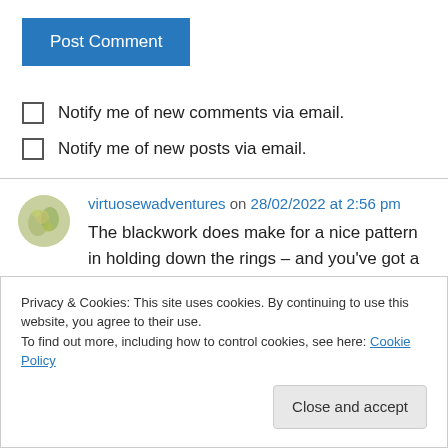Post Comment
Notify me of new comments via email.
Notify me of new posts via email.
virtuosewadventures on 28/02/2022 at 2:56 pm
The blackwork does make for a nice pattern in holding down the rings – and you've got a lovely variety of patterns there, too
Privacy & Cookies: This site uses cookies. By continuing to use this website, you agree to their use.
To find out more, including how to control cookies, see here: Cookie Policy
Close and accept